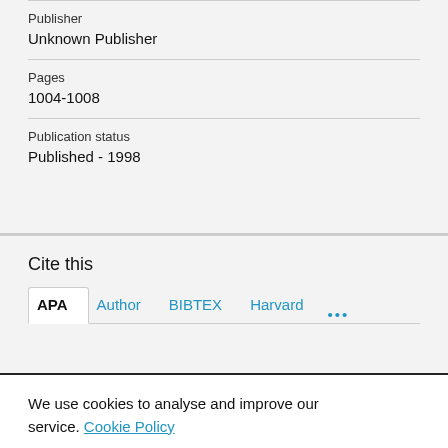Publisher
Unknown Publisher
Pages
1004-1008
Publication status
Published - 1998
Cite this
APA | Author | BIBTEX | Harvard | ...
We use cookies to analyse and improve our service. Cookie Policy